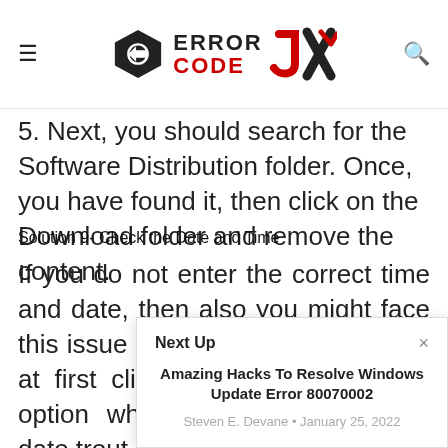Error Code OX
5. Next, you should search for the Software Distribution folder. Once, you have found it, then click on the Download folder and remove the content.
Solution 9- Check the Date and Time
If you do not enter the correct time and date, then also you might face this issue on your device. To do so, at first click on the Date & Time option which is locat Scre date, date trout
[Figure (other): Next Up popup overlay with title 'Amazing Hacks To Resolve Windows Update Error 80070002' by Steven E. Devane, January 25, 2022]